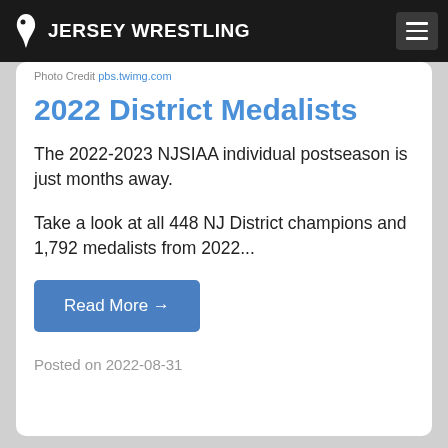JERSEY WRESTLING
Photo Credit pbs.twimg.com
2022 District Medalists
The 2022-2023 NJSIAA individual postseason is just months away.
Take a look at all 448 NJ District champions and 1,792 medalists from 2022...
Read More →
Posted on 2022-08-31